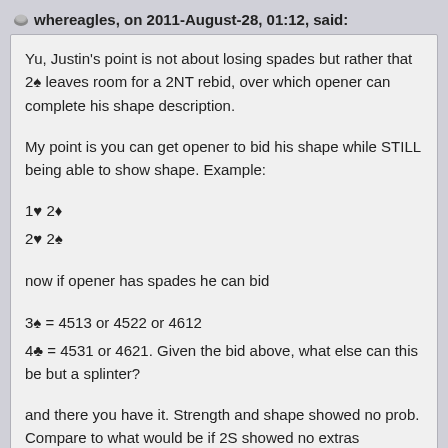whereagles, on 2011-August-28, 01:12, said:
Yu, Justin's point is not about losing spades but rather that 2♠ leaves room for a 2NT rebid, over which opener can complete his shape description.
My point is you can get opener to bid his shape while STILL being able to show shape. Example:
1♥ 2♦
2♥ 2♠
now if opener has spades he can bid
3♠ = 4513 or 4522 or 4612
4♣ = 4531 or 4621. Given the bid above, what else can this be but a splinter?
and there you have it. Strength and shape showed no prob. Compare to what would be if 2S showed no extras
1♥ 2♦